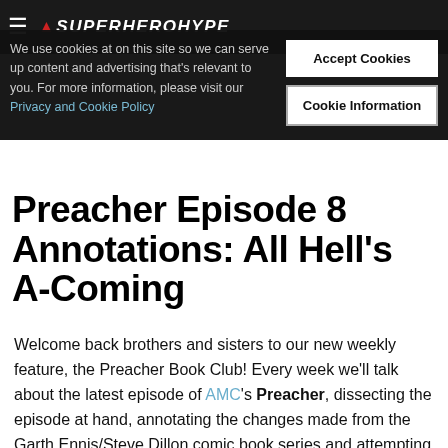SuperHeroHype
We use cookies at on this site so we can serve up content and advertising that's relevant to you. For more information, please visit our Privacy and Cookie Policy
Accept Cookies
Cookie Information
Preacher Episode 8 Annotations: All Hell's A-Coming
Welcome back brothers and sisters to our new weekly feature, the Preacher Book Club! Every week we'll talk about the latest episode of AMC's Preacher, dissecting the episode at hand, annotating the changes made from the Garth Ennis/Steve Dillon comic book series and attempting to predict about what will be coming next. So let's dive right into our thoughts and annotations on Preacher Episode 8!